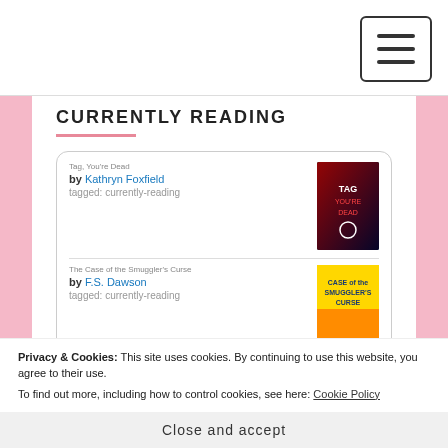CURRENTLY READING
Tag, You're Dead
by Kathryn Foxfield
tagged: currently-reading
The Case of the Smuggler's Curse
by F.S. Dawson
tagged: currently-reading
Klein geitje kan alles
by Yvonne Jagtenberg
tagged: currently-reading
Privacy & Cookies: This site uses cookies. By continuing to use this website, you agree to their use.
To find out more, including how to control cookies, see here: Cookie Policy
Close and accept
by Howard Pearlstein